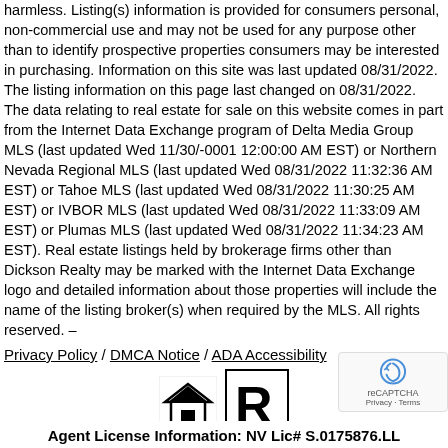harmless. Listing(s) information is provided for consumers personal, non-commercial use and may not be used for any purpose other than to identify prospective properties consumers may be interested in purchasing. Information on this site was last updated 08/31/2022. The listing information on this page last changed on 08/31/2022. The data relating to real estate for sale on this website comes in part from the Internet Data Exchange program of Delta Media Group MLS (last updated Wed 11/30/-0001 12:00:00 AM EST) or Northern Nevada Regional MLS (last updated Wed 08/31/2022 11:32:36 AM EST) or Tahoe MLS (last updated Wed 08/31/2022 11:30:25 AM EST) or IVBOR MLS (last updated Wed 08/31/2022 11:33:09 AM EST) or Plumas MLS (last updated Wed 08/31/2022 11:34:23 AM EST). Real estate listings held by brokerage firms other than Dickson Realty may be marked with the Internet Data Exchange logo and detailed information about those properties will include the name of the listing broker(s) when required by the MLS. All rights reserved. –
Privacy Policy / DMCA Notice / ADA Accessibility
[Figure (logo): Equal Housing Opportunity logo and Realtor logo]
This site is hosted, designed, and copyright © 1994 - 2022 by Delta Media Group, Inc. -- Patent Pending --
Agents Only Login
Agent License Information: NV Lic# S.0175876.LL